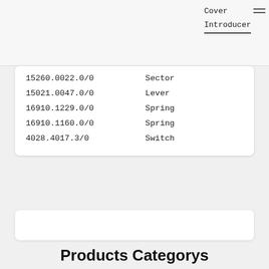Cover
Introducer
| Part Number | Description |
| --- | --- |
| 15260.0022.0/0 | Sector |
| 15021.0047.0/0 | Lever |
| 16910.1229.0/0 | Spring |
| 16910.1160.0/0 | Spring |
| 4028.4017.3/0 | Switch |
Products Categorys
Autoconer spares
Fluff gun